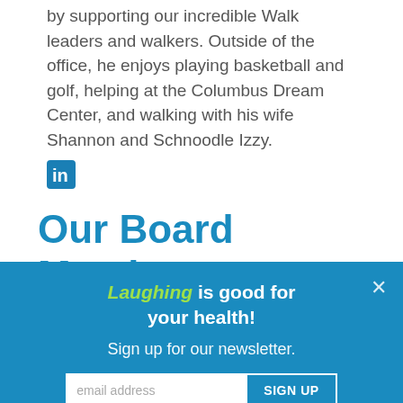by supporting our incredible Walk leaders and walkers. Outside of the office, he enjoys playing basketball and golf, helping at the Columbus Dream Center, and walking with his wife Shannon and Schnoodle Izzy.
[Figure (logo): LinkedIn logo icon in blue]
Our Board Members
Laughing is good for your health!
Sign up for our newsletter.
email address   SIGN UP